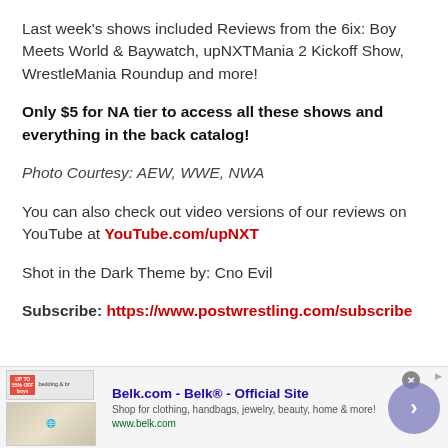Last week's shows included Reviews from the 6ix: Boy Meets World & Baywatch, upNXTMania 2 Kickoff Show, WrestleMania Roundup and more!
Only $5 for NA tier to access all these shows and everything in the back catalog!
Photo Courtesy: AEW, WWE, NWA
You can also check out video versions of our reviews on YouTube at YouTube.com/upNXT
Shot in the Dark Theme by: Cno Evil
Subscribe: https://www.postwrestling.com/subscribe
[Figure (other): Advertisement banner for Belk.com - Belk Official Site. Shows product images for bedding, text 'Shop for clothing, handbags, jewelry, beauty, home & more!' and www.belk.com URL, with a navigation arrow button.]